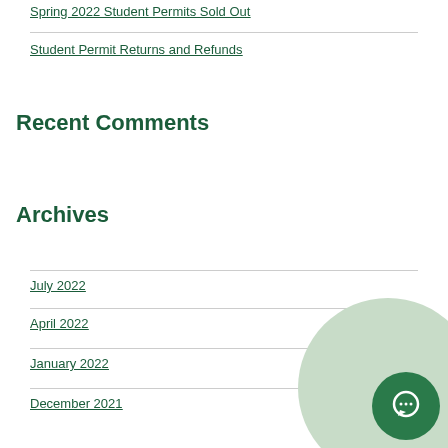Spring 2022 Student Permits Sold Out
Student Permit Returns and Refunds
Recent Comments
Archives
July 2022
April 2022
January 2022
December 2021